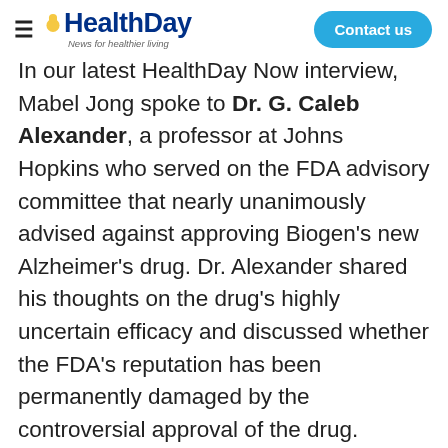HealthDay — News for healthier living | Contact us
In our latest HealthDay Now interview, Mabel Jong spoke to Dr. G. Caleb Alexander, a professor at Johns Hopkins who served on the FDA advisory committee that nearly unanimously advised against approving Biogen's new Alzheimer's drug. Dr. Alexander shared his thoughts on the drug's highly uncertain efficacy and discussed whether the FDA's reputation has been permanently damaged by the controversial approval of the drug.
Watch the in-depth discussion above, and see our past HealthDay Nows and other videos